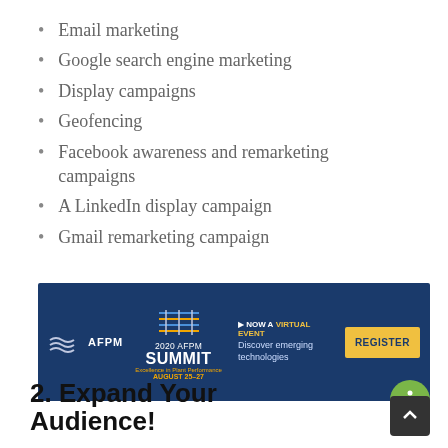Email marketing
Google search engine marketing
Display campaigns
Geofencing
Facebook awareness and remarketing campaigns
A LinkedIn display campaign
Gmail remarketing campaign
[Figure (screenshot): AFPM 2020 Summit advertisement banner — NOW A VIRTUAL EVENT, Discover emerging technologies, REGISTER button. August 25-27.]
2. Expand Your Audience!